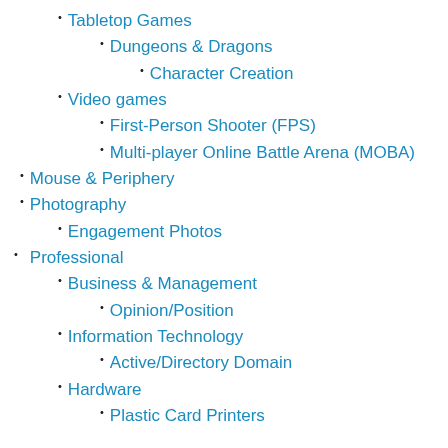Tabletop Games
Dungeons & Dragons
Character Creation
Video games
First-Person Shooter (FPS)
Multi-player Online Battle Arena (MOBA)
Mouse & Periphery
Photography
Engagement Photos
Professional
Business & Management
Opinion/Position
Information Technology
Active/Directory Domain
Hardware
Plastic Card Printers